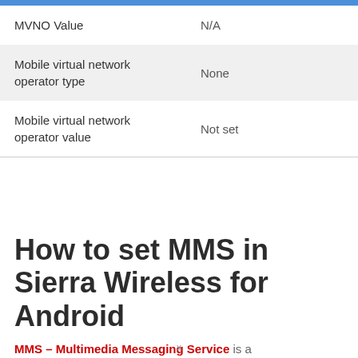| Property | Value |
| --- | --- |
| MVNO Value | N/A |
| Mobile virtual network operator type | None |
| Mobile virtual network operator value | Not set |
How to set MMS in Sierra Wireless for Android
MMS – Multimedia Messaging Service is a